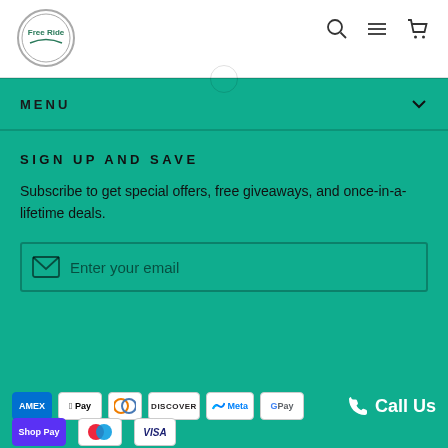Free Ride — site header with logo and navigation icons (search, menu, cart)
MENU
SIGN UP AND SAVE
Subscribe to get special offers, free giveaways, and once-in-a-lifetime deals.
Enter your email
[Figure (logo): Payment method logos: American Express, Apple Pay, Diners Club, Discover, Meta Pay, Google Pay, Shop Pay, Maestro, Visa]
Call Us